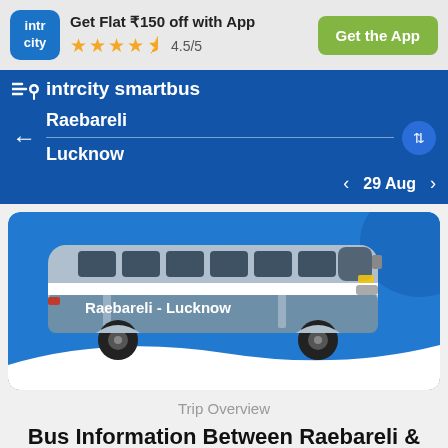[Figure (logo): IntrCity app logo - blue rounded square with intr/city text]
Get Flat ₹150 off with App
★★★★☆ 4.5/5
Get the App
[Figure (screenshot): IntrCity SmartBus app navigation bar showing route from Raebareli to Lucknow on 29 Aug]
intrcity smartbus
Raebareli
Lucknow
29 Aug
[Figure (illustration): Blue and white intercity bus with text Raebareli - Lucknow on the side, set against a blue background with white wave]
Trip Overview
Bus Information Between Raebareli &